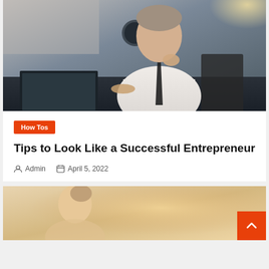[Figure (photo): Man in white shirt and dark tie sitting at a desk with a laptop, holding a pen, looking thoughtful. Office setting with bright window light in background.]
How Tos
Tips to Look Like a Successful Entrepreneur
Admin  April 5, 2022
[Figure (photo): Partial view of a woman with blonde hair pulled back, shown from the shoulders up, in a warm-lit setting.]